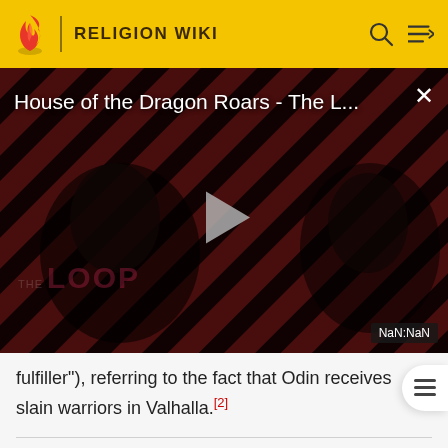RELIGION WIKI
[Figure (screenshot): Video player thumbnail for 'House of the Dragon Roars - The L...' showing dark figures against red diagonal stripe background with THE LOOP watermark and a play button. NaN:NaN time display in bottom right corner.]
fulfiller"), referring to the fact that Odin receives slain warriors in Valhalla.[2]
Old Norse attestations
Poetic Edda